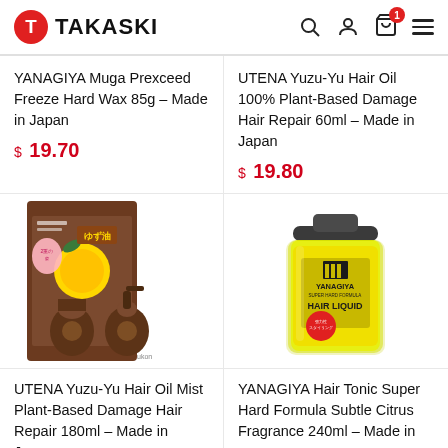TAKASKI
YANAGIYA Muga Prexceed Freeze Hard Wax 85g – Made in Japan
$ 19.70
UTENA Yuzu-Yu Hair Oil 100% Plant-Based Damage Hair Repair 60ml – Made in Japan
$ 19.80
[Figure (photo): UTENA Yuzu-Yu Hair Oil Mist product packaging – brown bottles with yuzu fruit imagery]
[Figure (photo): YANAGIYA Hair Liquid bottle – yellow liquid in clear glass bottle with black cap]
UTENA Yuzu-Yu Hair Oil Mist Plant-Based Damage Hair Repair 180ml – Made in Japan
YANAGIYA Hair Tonic Super Hard Formula Subtle Citrus Fragrance 240ml – Made in